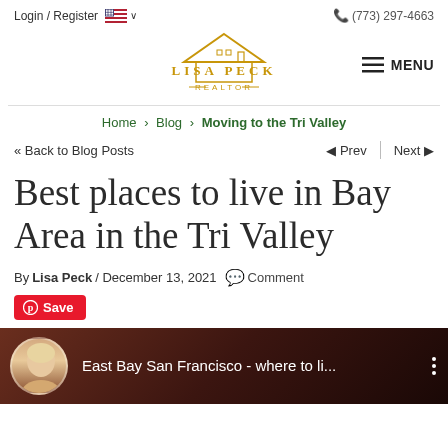Login / Register  (773) 297-4663
[Figure (logo): Lisa Peck Realtor logo with house/roof illustration and golden text]
Home > Blog > Moving to the Tri Valley
«« Back to Blog Posts    ◄ Prev  |  Next ►
Best places to live in Bay Area in the Tri Valley
By Lisa Peck / December 13, 2021  Comment
Save
[Figure (screenshot): Video thumbnail showing a woman (Lisa Peck) with text 'East Bay San Francisco - where to li...' on dark background]